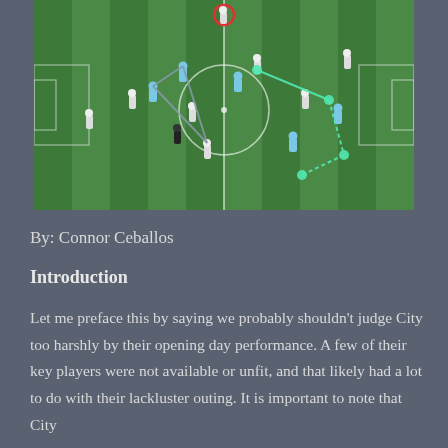[Figure (photo): Aerial view of a soccer/football match in progress on a green striped pitch. Players in light blue and white kits are visible. Tactical annotations are overlaid: gray lines forming a triangle on the left half, and green/teal lines connecting players on the right half with white dots marking positions. A red circle highlights a player near the top center.]
By: Connor Ceballos
Introduction
Let me preface this by saying we probably shouldn't judge City too harshly by their opening day performance. A few of their key players were not available or unfit, and that likely had a lot to do with their lackluster outing. It is important to note that City